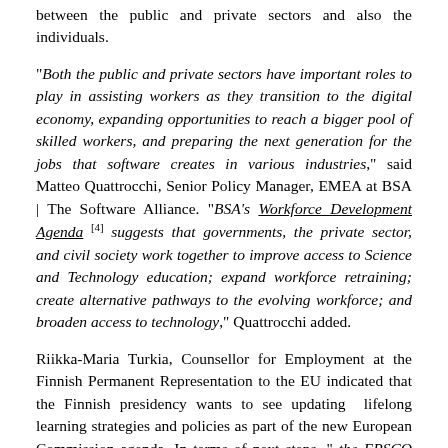between the public and private sectors and also the individuals.
"Both the public and private sectors have important roles to play in assisting workers as they transition to the digital economy, expanding opportunities to reach a bigger pool of skilled workers, and preparing the next generation for the jobs that software creates in various industries," said Matteo Quattrocchi, Senior Policy Manager, EMEA at BSA | The Software Alliance. "BSA's Workforce Development Agenda [4] suggests that governments, the private sector, and civil society work together to improve access to Science and Technology education; expand workforce retraining; create alternative pathways to the evolving workforce; and broaden access to technology," Quattrocchi added.
Riikka-Maria Turkia, Counsellor for Employment at the Finnish Permanent Representation to the EU indicated that the Finnish presidency wants to see updating lifelong learning strategies and policies as part of the new European Commission agenda. In terms of next steps, "the EPSCO Council on 24 October will have a policy debate on a strategic approach to continuous lifelong learning, and is also expected to adopt the Council Conclusions on the ILO Declaration [5] for the Future of